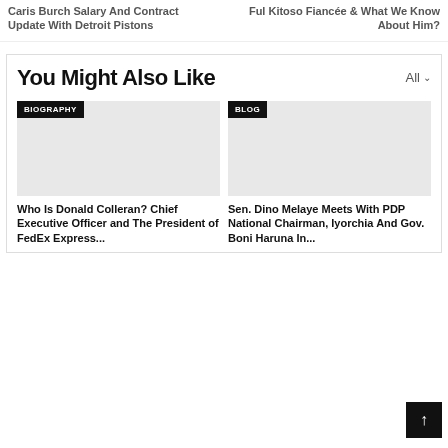Caris Burch Salary And Contract Update With Detroit Pistons
Ful Kitoso Fiancée & What We Know About Him?
You Might Also Like
[Figure (other): Article card with BIOGRAPHY badge and placeholder image for Who Is Donald Colleran? Chief Executive Officer and The President of FedEx Express...]
[Figure (other): Article card with BLOG badge and placeholder image for Sen. Dino Melaye Meets With PDP National Chairman, Iyorchia And Gov. Boni Haruna In...]
Who Is Donald Colleran? Chief Executive Officer and The President of FedEx Express...
Sen. Dino Melaye Meets With PDP National Chairman, Iyorchia And Gov. Boni Haruna In...